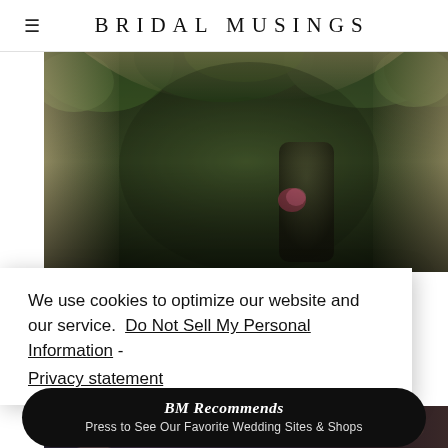BRIDAL MUSINGS
[Figure (photo): Wedding photo showing a couple standing under a fabric and greenery draped arch/tent structure, with lush green foliage overhead and fabric drapes on the sides. The couple is visible in the background.]
We use cookies to optimize our website and our service.  Do Not Sell My Personal Information - Privacy statement
[Figure (infographic): Black pill-shaped button with white text reading 'BM Recommends' and subtext 'Press to See Our Favorite Wedding Sites & Shops']
[Figure (photo): Partial bottom strip showing another wedding photo, cropped at the bottom of the page.]